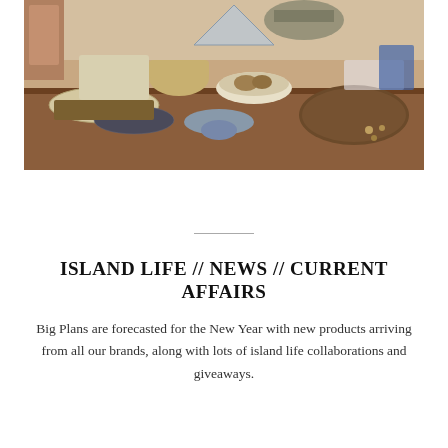[Figure (photo): A wooden table displaying various handcrafted items including woven baskets, beaded necklaces, a round wooden board with items, and various accessories in a retail shop setting.]
ISLAND LIFE // NEWS // CURRENT AFFAIRS
Big Plans are forecasted for the New Year with new products arriving from all our brands, along with lots of island life collaborations and giveaways.